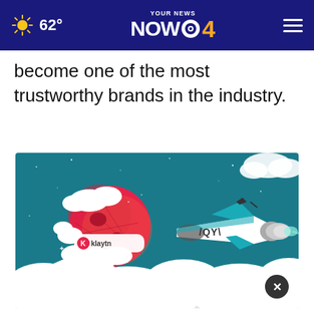62° YOUR NEWS NOW CBS 4
become one of the most trustworthy brands in the industry.
[Figure (illustration): Cartoon illustration of a space/crypto scene on a teal background. On the left is a stylized red/pink planet with cloud decorations and a Klaytn logo badge. On the right is a white and teal rocket plane labeled 'IQYI' flying through clouds. Stars and space dust dot the background. White fluffy clouds are at the bottom of the image.]